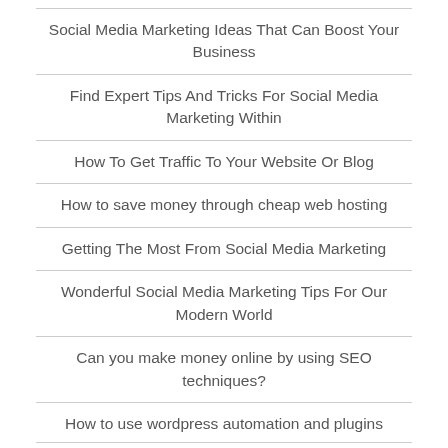Social Media Marketing Ideas That Can Boost Your Business
Find Expert Tips And Tricks For Social Media Marketing Within
How To Get Traffic To Your Website Or Blog
How to save money through cheap web hosting
Getting The Most From Social Media Marketing
Wonderful Social Media Marketing Tips For Our Modern World
Can you make money online by using SEO techniques?
How to use wordpress automation and plugins